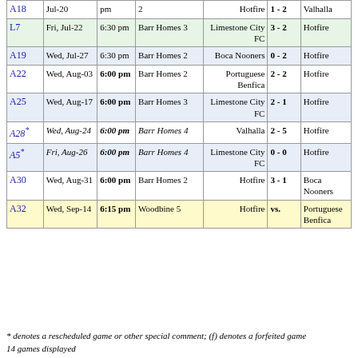| Game | Date | Time | Location | Team 1 | Score | Team 2 |
| --- | --- | --- | --- | --- | --- | --- |
| A18 | Jul-20 | pm | 2 | Hotfire | 1 - 2 | Valhalla |
| L7 | Fri, Jul-22 | 6:30 pm | Barr Homes 3 | Limestone City FC | 3 - 2 | Hotfire |
| A19 | Wed, Jul-27 | 6:30 pm | Barr Homes 2 | Boca Nooners | 0 - 2 | Hotfire |
| A22 | Wed, Aug-03 | 6:00 pm | Barr Homes 2 | Portuguese Benfica | 2 - 2 | Hotfire |
| A25 | Wed, Aug-17 | 6:00 pm | Barr Homes 3 | Limestone City FC | 2 - 1 | Hotfire |
| A28* | Wed, Aug-24 | 6:00 pm | Barr Homes 4 | Valhalla | 2 - 5 | Hotfire |
| A5* | Fri, Aug-26 | 6:00 pm | Barr Homes 4 | Limestone City FC | 0 - 0 | Hotfire |
| A30 | Wed, Aug-31 | 6:00 pm | Barr Homes 2 | Hotfire | 3 - 1 | Boca Nooners |
| A32 | Wed, Sep-14 | 6:15 pm | Woodbine 5 | Hotfire | vs. | Portuguese Benfica |
* denotes a rescheduled game or other special comment; (f) denotes a forfeited game
14 games displayed